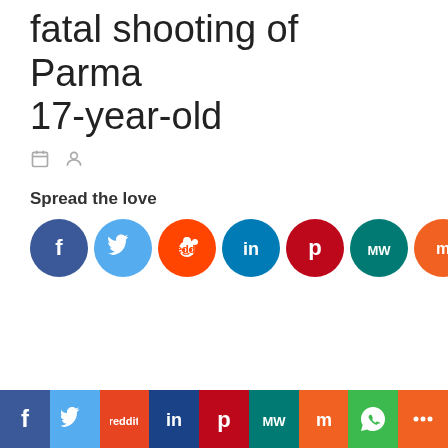fatal shooting of Parma 17-year-old
[Figure (infographic): Social sharing icons row: Facebook (dark blue), Twitter (light blue), Reddit (orange), LinkedIn (blue), Pinterest (dark red), MeWe (teal), Mix (orange), WhatsApp (green), More/Share (orange)]
[Figure (infographic): Bottom bar with social sharing buttons: Facebook (blue), Twitter (light blue), Reddit (orange-red), LinkedIn (dark blue), Pinterest (dark red), MeWe (teal), Mix (orange), WhatsApp (green), Share (orange)]